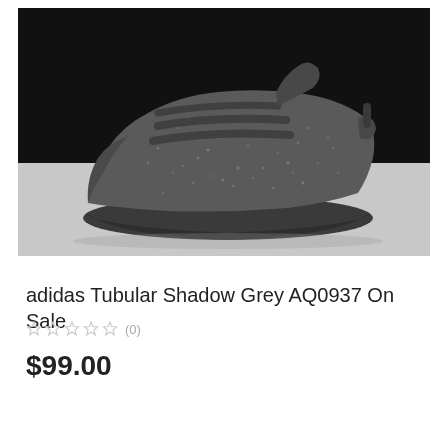[Figure (photo): Adidas Tubular Shadow Grey sneaker on a split background — black upper half and light grey lower half. The shoe is dark grey/charcoal with a speckled texture on the upper and a thick tubular sole, shown from the side.]
adidas Tubular Shadow Grey AQ0937 On Sale
★★★★★(0)
$99.00